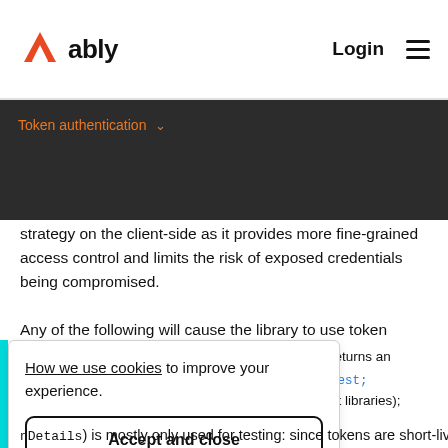ably  Login
Token authentication ∨
strategy on the client-side as it provides more fine-grained access control and limits the risk of exposed credentials being compromised.
Any of the following will cause the library to use token authentication:
How we use cookies to improve your experience. [Accept and close button]
returns an ...uest;
nt libraries); d
nDetails) is mostly only used for testing: since tokens are short-lived, in